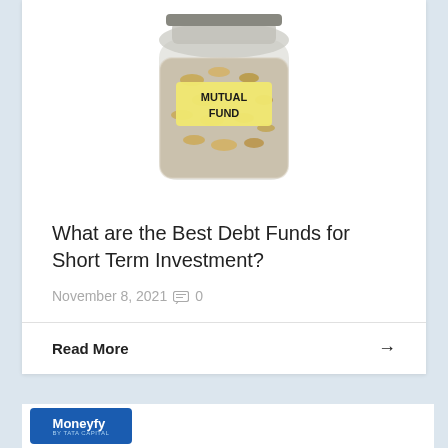[Figure (photo): A glass jar filled with coins labeled 'MUTUAL FUND' on a yellow sticky note label]
What are the Best Debt Funds for Short Term Investment?
November 8, 2021  0
Read More →
[Figure (logo): Moneyfy by Tata Capital logo — blue rounded rectangle with white text]